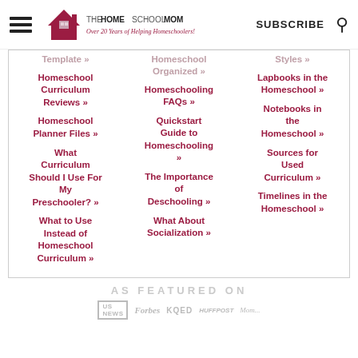THE HOMESCHOOL MOM - Over 20 Years of Helping Homeschoolers!
Template »
Homeschool Curriculum Reviews »
Homeschool Planner Files »
What Curriculum Should I Use For My Preschooler? »
What to Use Instead of Homeschool Curriculum »
Homeschool Organized »
Homeschooling FAQs »
Quickstart Guide to Homeschooling »
The Importance of Deschooling »
What About Socialization »
Styles »
Lapbooks in the Homeschool »
Notebooks in the Homeschool »
Sources for Used Curriculum »
Timelines in the Homeschool »
AS FEATURED ON
US News  Forbes  KQED  HUFFPOST  ...